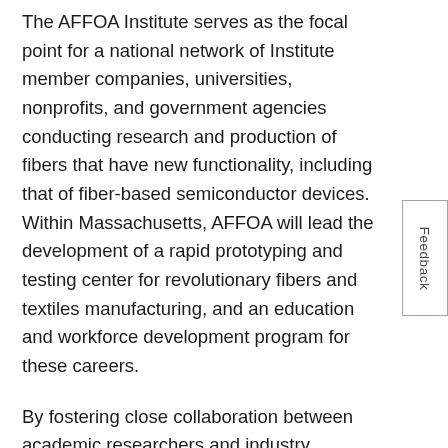The AFFOA Institute serves as the focal point for a national network of Institute member companies, universities, nonprofits, and government agencies conducting research and production of fibers that have new functionality, including that of fiber-based semiconductor devices. Within Massachusetts, AFFOA will lead the development of a rapid prototyping and testing center for revolutionary fibers and textiles manufacturing, and an education and workforce development program for these careers.
By fostering close collaboration between academic researchers and industry partners, the manufacturing innovation institute will foster the rapid deployment of these revolutionary new technologies by Massachusetts employers.
The University of Massachusetts will serve as a key